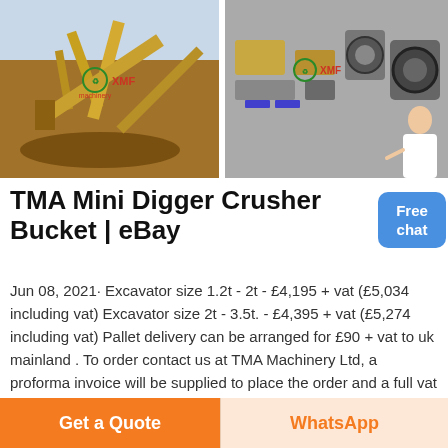[Figure (photo): Mining/quarry equipment - large yellow conveyor/crusher machinery on a dirt site, with XMF watermark overlay]
[Figure (photo): Industrial hydraulic or pneumatic machinery components closeup, with XMF watermark overlay and female assistant figure in bottom right]
TMA Mini Digger Crusher Bucket | eBay
Jun 08, 2021· Excavator size 1.2t - 2t - £4,195 + vat (£5,034 including vat) Excavator size 2t - 3.5t. - £4,395 + vat (£5,274 including vat) Pallet delivery can be arranged for £90 + vat to uk mainland . To order contact us at TMA Machinery Ltd, a proforma invoice will be supplied to place the order and a full vat invoice on completion.
[Figure (photo): Partial bottom strip showing machinery close-ups in blue/grey tones with red element]
Get a Quote
WhatsApp